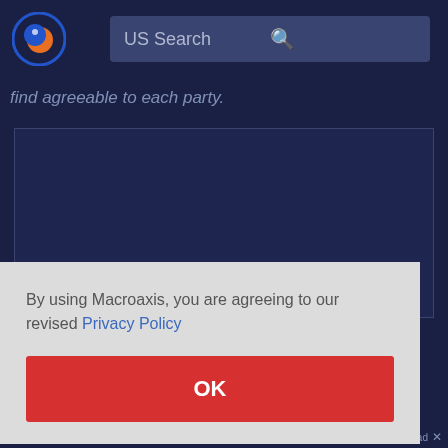[Figure (logo): Macroaxis logo: circular icon with orange and blue design]
US Search
find agreeable to each party.
By using Macroaxis, you are agreeing to our revised Privacy Policy
OK
Sponsored content. Upgrade to remove this ad ✕